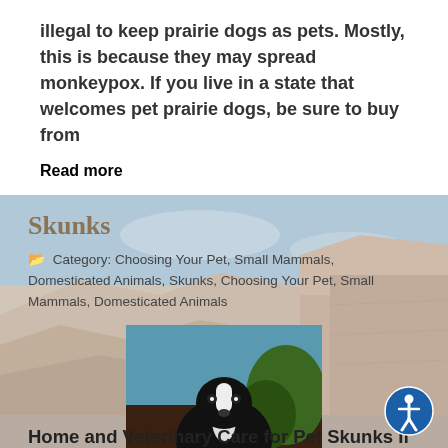illegal to keep prairie dogs as pets. Mostly, this is because they may spread monkeypox. If you live in a state that welcomes pet prairie dogs, be sure to buy from
Read more
Skunks
Category: Choosing Your Pet, Small Mammals, Domesticated Animals, Skunks, Choosing Your Pet, Small Mammals, Domesticated Animals
[Figure (photo): A person holding a small black and white skunk]
Home and Veterinary Care for Pet Skunks If